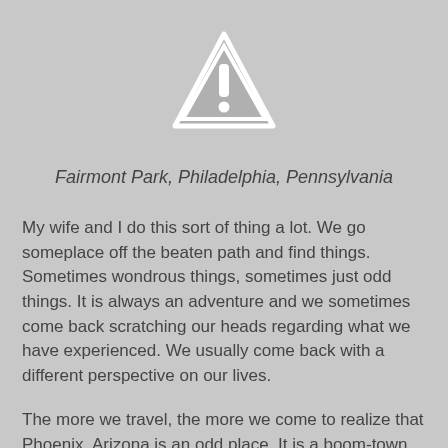[Figure (illustration): Warning/caution triangle icon with exclamation mark, white symbol on grey background with white border]
Fairmont Park, Philadelphia, Pennsylvania
My wife and I do this sort of thing a lot. We go someplace off the beaten path and find things. Sometimes wondrous things, sometimes just odd things. It is always an adventure and we sometimes come back scratching our heads regarding what we have experienced. We usually come back with a different perspective on our lives.
The more we travel, the more we come to realize that Phoenix, Arizona is an odd place. It is a boom-town. It has grown up really fast, and culturally it doesn't have a lot going for it. It is a place where people come (by the thousands